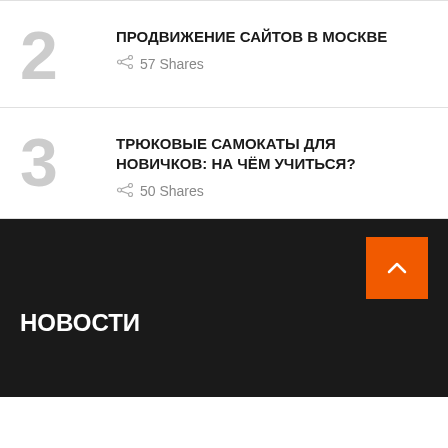2 ПРОДВИЖЕНИЕ САЙТОВ В МОСКВЕ – 57 Shares
3 ТРЮКОВЫЕ САМОКАТЫ ДЛЯ НОВИЧКОВ: НА ЧЁМ УЧИТЬСЯ? – 50 Shares
НОВОСТИ